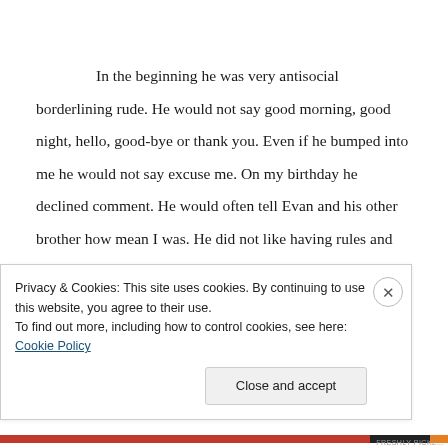In the beginning he was very antisocial borderlining rude. He would not say good morning, good night, hello, good-bye or thank you. Even if he bumped into me he would not say excuse me. On my birthday he declined comment. He would often tell Evan and his other brother how mean I was. He did not like having rules and thought at age twelve he was old enough to make his own.
For months I was miserable in my own home. It was too uncomfortable
Privacy & Cookies: This site uses cookies. By continuing to use this website, you agree to their use.
To find out more, including how to control cookies, see here: Cookie Policy
Close and accept